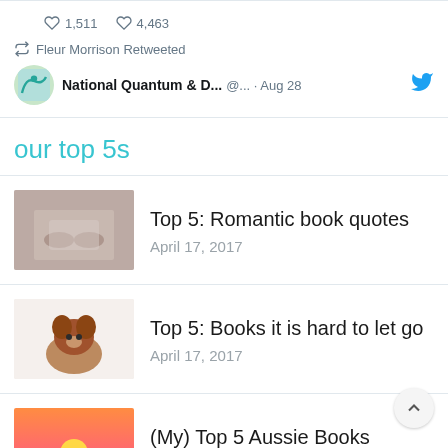1,511   4,463
Fleur Morrison Retweeted
National Quantum & D... @... · Aug 28
our top 5s
Top 5: Romantic book quotes
April 17, 2017
Top 5: Books it is hard to let go
April 17, 2017
(My) Top 5 Aussie Books
April 17, 2017